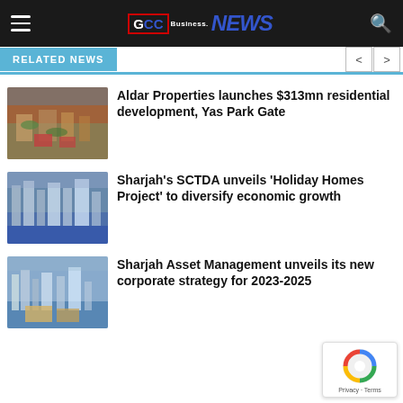GCC Business News
RELATED NEWS
[Figure (photo): Aerial view of a residential development with sports courts and green areas]
Aldar Properties launches $313mn residential development, Yas Park Gate
[Figure (photo): Aerial view of Sharjah waterfront skyline with city buildings]
Sharjah’s SCTDA unveils ‘Holiday Homes Project’ to diversify economic growth
[Figure (photo): Aerial view of Sharjah waterfront with heritage buildings and sea]
Sharjah Asset Management unveils its new corporate strategy for 2023-2025